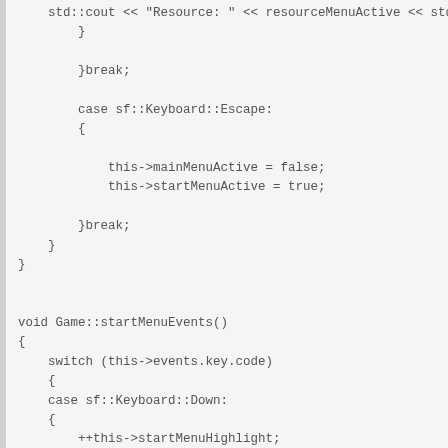std::cout << "Resource: " << resourceMenuActive << std::endl;
        }

        }break;

        case sf::Keyboard::Escape:
        {

            this->mainMenuActive = false;
            this->startMenuActive = true;

        }break;
    }
}


void Game::startMenuEvents()
{
    switch (this->events.key.code)
    {
    case sf::Keyboard::Down:
    {
        ++this->startMenuHighlight;
        if (this->startMenuHighlight > START_EXIT_GAME)
        {
            this->startMenuHighlight = START_NEW_GAME;
        }
    }